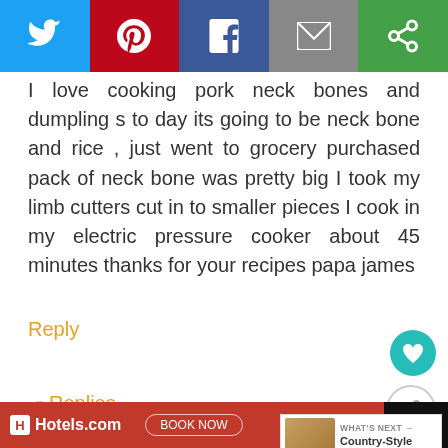[Figure (screenshot): Social share bar with Twitter, Pinterest, Facebook, Email, and Copy/Link buttons]
I love cooking pork neck bones and dumplings to day its going to be neck bone and rice , just went to grocery purchased pack of neck bone was pretty big I took my limb cutters cut in to smaller pieces I cook in my electric pressure cooker about 45 minutes thanks for your recipes papa james
Reply
▾ Replies
Jeffinprov 8/30/19, 12:25 PM
Neck bones are BORN for the pressure cooker.
[Figure (other): What's Next promo box: Country-Style Ribs & Rice with thumbnail image]
[Figure (screenshot): Hotels.com advertisement banner at the bottom of the page]